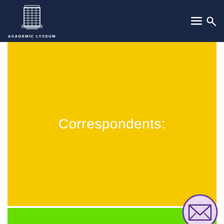ACADEMIC LYCEUM
Correspondents:
[Figure (illustration): Academic Lyceum building logo — white illustration of a multi-story building on dark navy background]
[Figure (illustration): Email/envelope icon inside a circle with purple border, overlapping yellow and green sections]